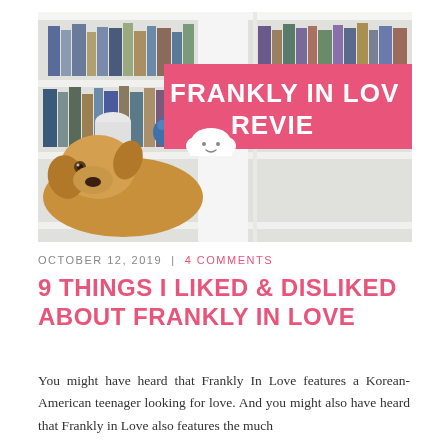[Figure (photo): A golden retriever dog lying in front of white bookshelves filled with books. A pink banner overlay reads 'FRANKLY IN LOVE REVIEW' with a cute cloud illustration.]
OCTOBER 12, 2019 | 4 COMMENTS
9 THINGS I LIKED & DISLIKED ABOUT FRANKLY IN LOVE
You might have heard that Frankly In Love features a Korean-American teenager looking for love. And you might also have heard that Frankly in Love also features the much